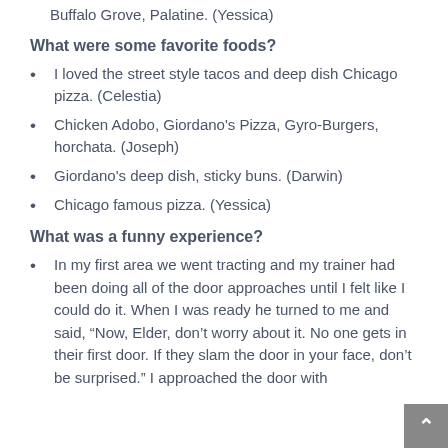Arlington Heights, Sterling, Rock Falls, Des Plaines, Buffalo Grove, Palatine. (Yessica)
What were some favorite foods?
I loved the street style tacos and deep dish Chicago pizza. (Celestia)
Chicken Adobo, Giordano’s Pizza, Gyro-Burgers, horchata. (Joseph)
Giordano’s deep dish, sticky buns. (Darwin)
Chicago famous pizza. (Yessica)
What was a funny experience?
In my first area we went tracting and my trainer had been doing all of the door approaches until I felt like I could do it. When I was ready he turned to me and said, “Now, Elder, don’t worry about it. No one gets in their first door. If they slam the door in your face, don’t be surprised.” I approached the door with